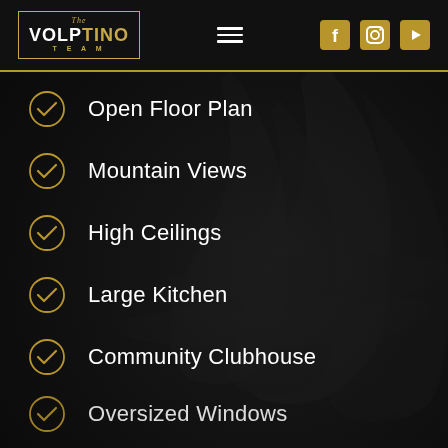The Volptino Team
Open Floor Plan
Mountain Views
High Ceilings
Large Kitchen
Community Clubhouse
Oversized Windows